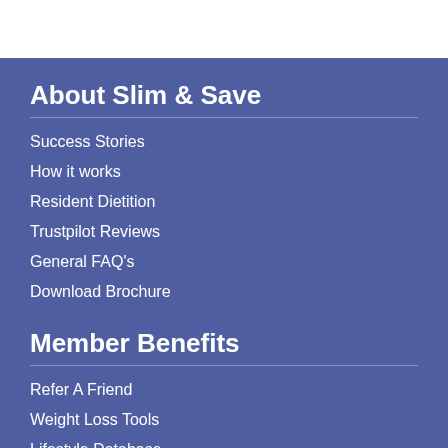About Slim & Save
Success Stories
How it works
Resident Dietition
Trustpilot Reviews
General FAQ's
Download Brochure
Member Benefits
Refer A Friend
Weight Loss Tools
Lifestyle Database